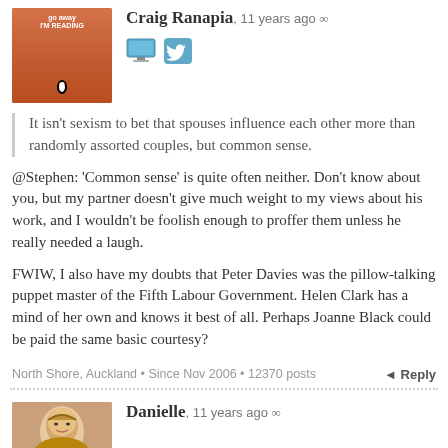[Figure (photo): Book cover avatar - orange/red book with text 'Go away I'm reading' and penguin logo]
Craig Ranapia, 11 years ago ∞
[Figure (screenshot): Monitor icon and Twitter bird icon]
It isn't sexism to bet that spouses influence each other more than randomly assorted couples, but common sense.
@Stephen: 'Common sense' is quite often neither. Don't know about you, but my partner doesn't give much weight to my views about his work, and I wouldn't be foolish enough to proffer them unless he really needed a laugh.

FWIW, I also have my doubts that Peter Davies was the pillow-talking puppet master of the Fifth Labour Government. Helen Clark has a mind of her own and knows it best of all. Perhaps Joanne Black could be paid the same basic courtesy?
North Shore, Auckland • Since Nov 2006 • 12370 posts
◄ Reply
Danielle, 11 years ago ∞
[Figure (photo): Avatar photo of Danielle - appears to be a vintage-style photo of a woman]